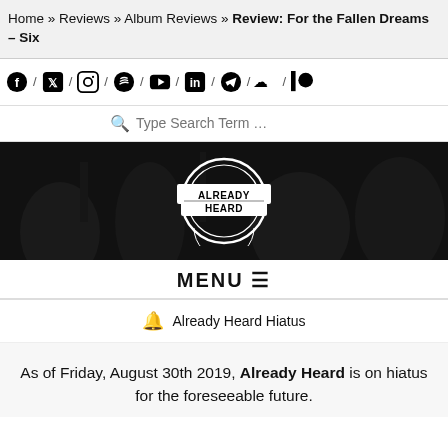Home » Reviews » Album Reviews » Review: For the Fallen Dreams – Six
[Figure (infographic): Social media icons row: Facebook, Twitter, Instagram, Spotify, YouTube, LinkedIn, Telegram, SoundCloud, Patreon separated by slash dividers]
Type Search Term …
[Figure (logo): Already Heard logo on dark banner background with concert crowd imagery]
MENU ≡
🔔 Already Heard Hiatus
As of Friday, August 30th 2019, Already Heard is on hiatus for the foreseeable future.